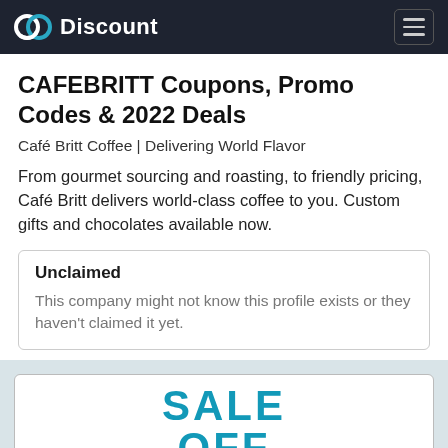Discount
CAFEBRITT Coupons, Promo Codes & 2022 Deals
Café Britt Coffee | Delivering World Flavor
From gourmet sourcing and roasting, to friendly pricing, Café Britt delivers world-class coffee to you. Custom gifts and chocolates available now.
Unclaimed
This company might not know this profile exists or they haven't claimed it yet.
SALE OFF